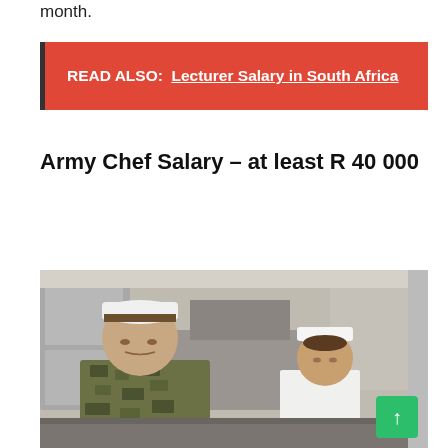month.
READ ALSO:  Lecturer Salary in South Africa
Army Chef Salary – at least R 40 000
[Figure (photo): Military chef in camouflage uniform and white hat working in a kitchen, with another person in white hat visible in background]